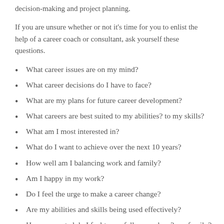decision-making and project planning.
If you are unsure whether or not it's time for you to enlist the help of a career coach or consultant, ask yourself these questions.
What career issues are on my mind?
What career decisions do I have to face?
What are my plans for future career development?
What careers are best suited to my abilities? to my skills?
What am I most interested in?
What do I want to achieve over the next 10 years?
How well am I balancing work and family?
Am I happy in my work?
Do I feel the urge to make a career change?
Are my abilities and skills being used effectively?
How connected do I feel to my fellow workers? my family?
Have my values changed? Are they consistent with